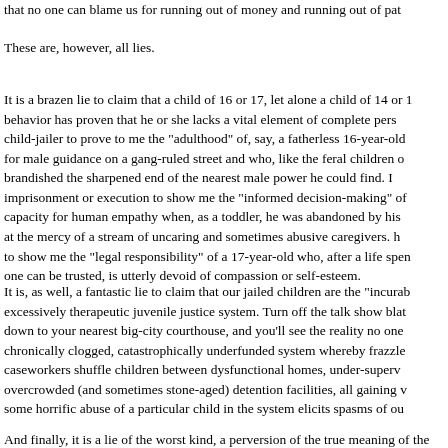that no one can blame us for running out of money and running out of pat
These are, however, all lies.
It is a brazen lie to claim that a child of 16 or 17, let alone a child of 14 or 1 behavior has proven that he or she lacks a vital element of complete pers child-jailer to prove to me the "adulthood" of, say, a fatherless 16-year-old for male guidance on a gang-ruled street and who, like the feral children o brandished the sharpened end of the nearest male power he could find. I imprisonment or execution to show me the "informed decision-making" of capacity for human empathy when, as a toddler, he was abandoned by his at the mercy of a stream of uncaring and sometimes abusive caregivers. h to show me the "legal responsibility" of a 17-year-old who, after a life spen one can be trusted, is utterly devoid of compassion or self-esteem.
It is, as well, a fantastic lie to claim that our jailed children are the "incurab excessively therapeutic juvenile justice system. Turn off the talk show blat down to your nearest big-city courthouse, and you'll see the reality no one chronically clogged, catastrophically underfunded system whereby frazzle caseworkers shuffle children between dysfunctional homes, under-superv overcrowded (and sometimes stone-aged) detention facilities, all gaining v some horrific abuse of a particular child in the system elicits spasms of ou
And finally, it is a lie of the worst kind, a perversion of the true meaning of the